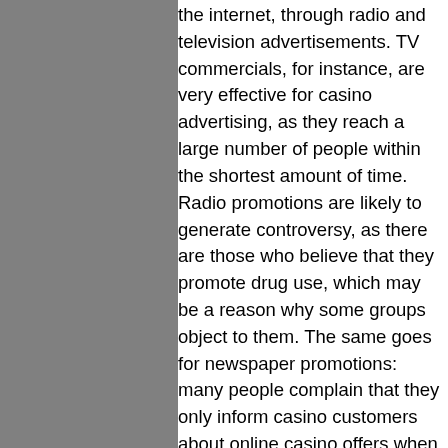the internet, through radio and television advertisements. TV commercials, for instance, are very effective for casino advertising, as they reach a large number of people within the shortest amount of time. Radio promotions are likely to generate controversy, as there are those who believe that they promote drug use, which may be a reason why some groups object to them. The same goes for newspaper promotions: many people complain that they only inform casino customers about online casino offers when they see print ads in the newspaper. When an online casino promotion is created, it is wise to pay attention to all the details of the offer, and make sure that they are indeed as described. It is